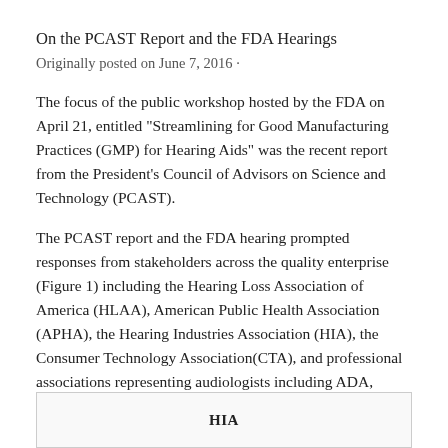On the PCAST Report and the FDA Hearings
Originally posted on June 7, 2016 ·
The focus of the public workshop hosted by the FDA on April 21, entitled “Streamlining for Good Manufacturing Practices (GMP) for Hearing Aids” was the recent report from the President’s Council of Advisors on Science and Technology (PCAST).
The PCAST report and the FDA hearing prompted responses from stakeholders across the quality enterprise (Figure 1) including the Hearing Loss Association of America (HLAA), American Public Health Association (APHA), the Hearing Industries Association (HIA), the Consumer Technology Association(CTA), and professional associations representing audiologists including ADA, ASHA, and AAA.²
[Figure (other): Box labeled HIA at the bottom of the page, part of Figure 1 diagram]